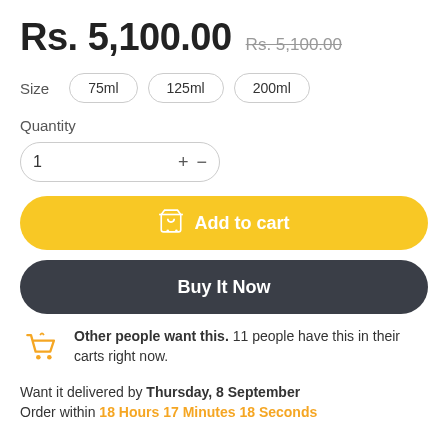Rs. 5,100.00  Rs. 5,100.00
Size  75ml  125ml  200ml
Quantity  1  +  -
Add to cart
Buy It Now
Other people want this. 11 people have this in their carts right now.
Want it delivered by Thursday, 8 September
Order within  18 Hours  17 Minutes  18 Seconds